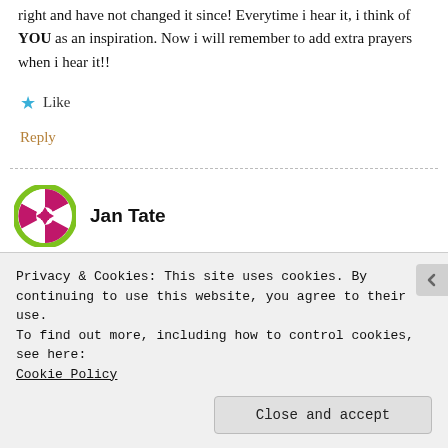right and have not changed it since! Everytime i hear it, i think of YOU as an inspiration. Now i will remember to add extra prayers when i hear it!!
★ Like
Reply
Jan Tate
Privacy & Cookies: This site uses cookies. By continuing to use this website, you agree to their use.
To find out more, including how to control cookies, see here: Cookie Policy
Close and accept